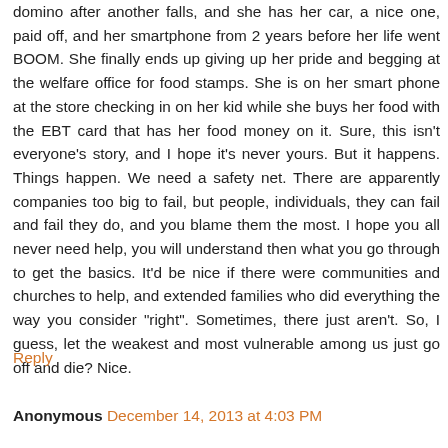domino after another falls, and she has her car, a nice one, paid off, and her smartphone from 2 years before her life went BOOM. She finally ends up giving up her pride and begging at the welfare office for food stamps. She is on her smart phone at the store checking in on her kid while she buys her food with the EBT card that has her food money on it. Sure, this isn't everyone's story, and I hope it's never yours. But it happens. Things happen. We need a safety net. There are apparently companies too big to fail, but people, individuals, they can fail and fail they do, and you blame them the most. I hope you all never need help, you will understand then what you go through to get the basics. It'd be nice if there were communities and churches to help, and extended families who did everything the way you consider "right". Sometimes, there just aren't. So, I guess, let the weakest and most vulnerable among us just go off and die? Nice.
Reply
Anonymous December 14, 2013 at 4:03 PM